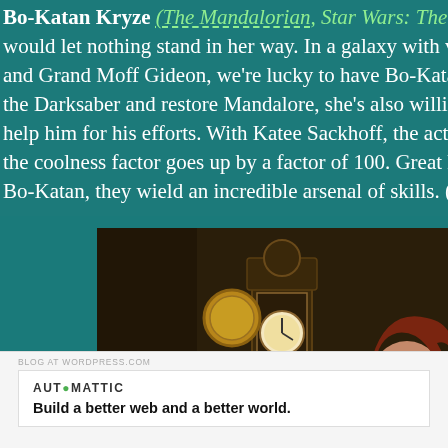Bo-Katan Kryze (The Mandalorian, Star Wars: The Clone Wars). would let nothing stand in her way. In a galaxy with villains li and Grand Moff Gideon, we're lucky to have Bo-Katan on our s the Darksaber and restore Mandalore, she's also willing to enh help him for his efforts. With Katee Sackhoff, the actress behin the coolness factor goes up by a factor of 100. Great heroines a Bo-Katan, they wield an incredible arsenal of skills. (Disney/Lu
[Figure (photo): A red-haired woman in dark clothing pointing a revolver at the camera, standing in a dark room with an ornate grandfather clock and trophies in the background.]
AUTOMATTIC
Build a better web and a better world.